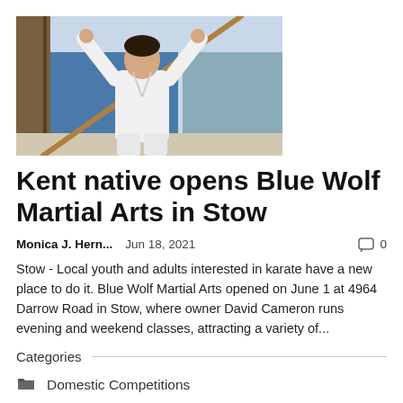[Figure (photo): A man in a white martial arts gi holding a wooden staff (bo) raised above his head in a dojo with blue padded walls]
Kent native opens Blue Wolf Martial Arts in Stow
Monica J. Hern...    Jun 18, 2021    0
Stow - Local youth and adults interested in karate have a new place to do it. Blue Wolf Martial Arts opened on June 1 at 4964 Darrow Road in Stow, where owner David Cameron runs evening and weekend classes, attracting a variety of...
Categories
Domestic Competitions
Football